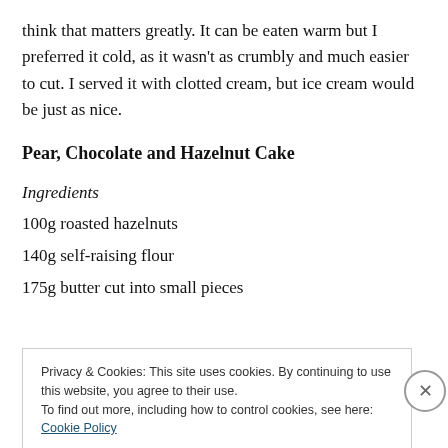think that matters greatly. It can be eaten warm but I preferred it cold, as it wasn't as crumbly and much easier to cut. I served it with clotted cream, but ice cream would be just as nice.
Pear, Chocolate and Hazelnut Cake
Ingredients
100g roasted hazelnuts
140g self-raising flour
175g butter cut into small pieces
Privacy & Cookies: This site uses cookies. By continuing to use this website, you agree to their use.
To find out more, including how to control cookies, see here: Cookie Policy